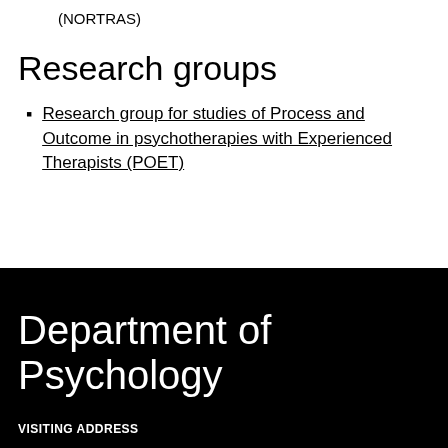(NORTRAS)
Research groups
Research group for studies of Process and Outcome in psychotherapies with Experienced Therapists (POET)
Department of Psychology
VISITING ADDRESS